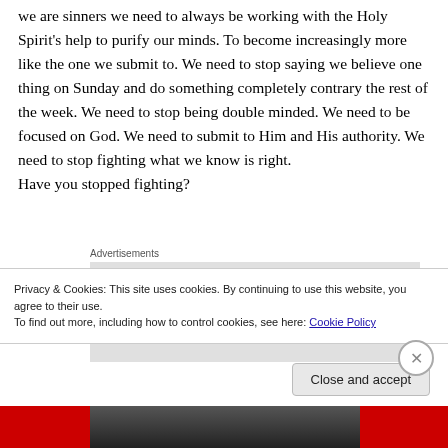we are sinners we need to always be working with the Holy Spirit's help to purify our minds. To become increasingly more like the one we submit to. We need to stop saying we believe one thing on Sunday and do something completely contrary the rest of the week. We need to stop being double minded. We need to be focused on God. We need to submit to Him and His authority. We need to stop fighting what we know is right. Have you stopped fighting?
Advertisements
[Figure (other): Advertisement placeholder box with partial text visible]
Privacy & Cookies: This site uses cookies. By continuing to use this website, you agree to their use.
To find out more, including how to control cookies, see here: Cookie Policy
Close and accept